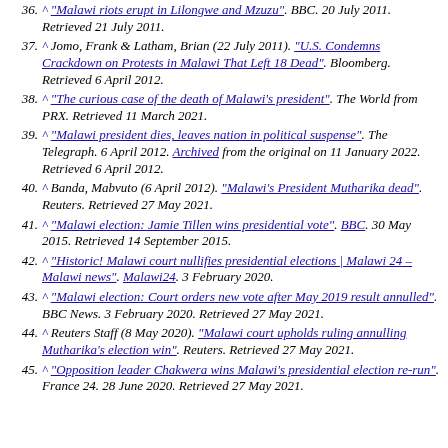36. ^ "Malawi riots erupt in Lilongwe and Mzuzu". BBC. 20 July 2011. Retrieved 21 July 2011.
37. ^ Jomo, Frank & Latham, Brian (22 July 2011). "U.S. Condemns Crackdown on Protests in Malawi That Left 18 Dead". Bloomberg. Retrieved 6 April 2012.
38. ^ "The curious case of the death of Malawi's president". The World from PRX. Retrieved 11 March 2021.
39. ^ "Malawi president dies, leaves nation in political suspense". The Telegraph. 6 April 2012. Archived from the original on 11 January 2022. Retrieved 6 April 2012.
40. ^ Banda, Mabvuto (6 April 2012). "Malawi's President Mutharika dead". Reuters. Retrieved 27 May 2021.
41. ^ "Malawi election: Jamie Tillen wins presidential vote". BBC. 30 May 2015. Retrieved 14 September 2015.
42. ^ "Historic! Malawi court nullifies presidential elections | Malawi 24 – Malawi news". Malawi24. 3 February 2020.
43. ^ "Malawi election: Court orders new vote after May 2019 result annulled". BBC News. 3 February 2020. Retrieved 27 May 2021.
44. ^ Reuters Staff (8 May 2020). "Malawi court upholds ruling annulling Mutharika's election win". Reuters. Retrieved 27 May 2021.
45. ^ "Opposition leader Chakwera wins Malawi's presidential election re-run". France 24. 28 June 2020. Retrieved 27 May 2021.